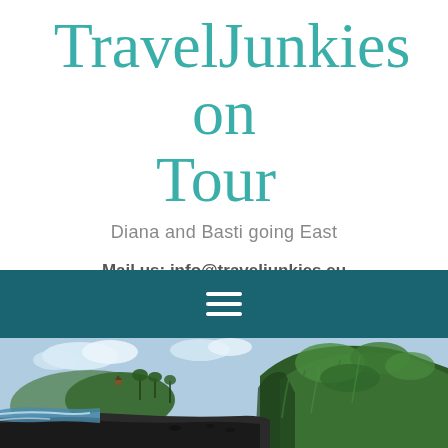TravelJunkies on Tour
Diana and Basti going East
Mail us: info@traveljunkies.eu
[Figure (other): Teal navigation bar with hamburger menu icon (three horizontal white lines)]
[Figure (photo): Coastal beach scene with dark sand, ocean waves on the left, and a tall green cliff/hillside covered in dense tropical vegetation on the right. There appears to be a small structure or hut visible among the trees on the hilltop.]